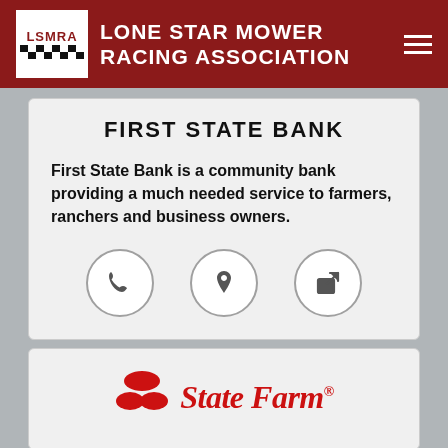Lone Star Mower Racing Association
FIRST STATE BANK
First State Bank is a community bank providing a much needed service to farmers, ranchers and business owners.
[Figure (infographic): Three circular icon buttons: phone, map pin/location, and external link icons]
[Figure (logo): State Farm logo with red oval shapes and State Farm wordmark in red italic text with registered trademark symbol]